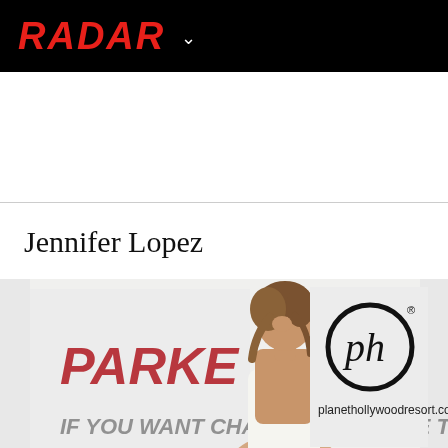RADAR
Jennifer Lopez
[Figure (photo): Jennifer Lopez posing at a Parker movie premiere event at Planet Hollywood Resort. She is wearing a backless white dress and looking over her shoulder. Backdrop shows PARKER logo in red and Planet Hollywood ph logo with planethollywoodresort.com text.]